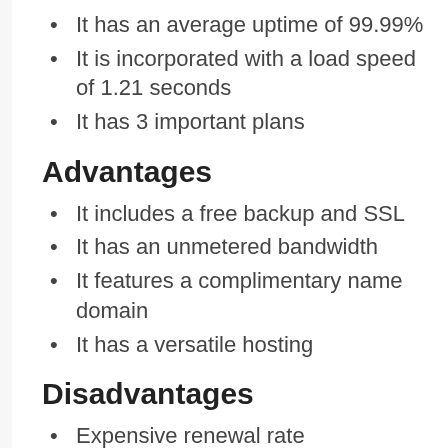It has an average uptime of 99.99%
It is incorporated with a load speed of 1.21 seconds
It has 3 important plans
Advantages
It includes a free backup and SSL
It has an unmetered bandwidth
It features a complimentary name domain
It has a versatile hosting
Disadvantages
Expensive renewal rate